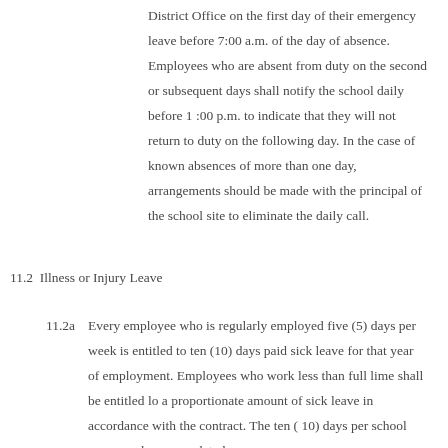District Office on the first day of their emergency leave before 7:00 a.m. of the day of absence. Employees who are absent from duty on the second or subsequent days shall notify the school daily before 1 :00 p.m. to indicate that they will not return to duty on the following day. In the case of known absences of more than one day, arrangements should be made with the principal of the school site to eliminate the daily call.
11.2  Illness or Injury Leave
11.2a  Every employee who is regularly employed five (5) days per week is entitled to ten (10) days paid sick leave for that year of employment. Employees who work less than full lime shall be entitled lo a proportionate amount of sick leave in accordance with the contract. The ten ( 10) days per school year may be accumulated